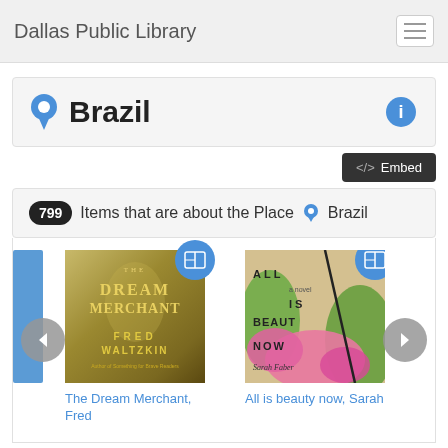Dallas Public Library
Brazil
799 Items that are about the Place  Brazil
[Figure (screenshot): Book cover: The Dream Merchant by Fred Waltzkin]
The Dream Merchant, Fred
[Figure (screenshot): Book cover: All is beauty now, Sarah Faber]
All is beauty now, Sarah